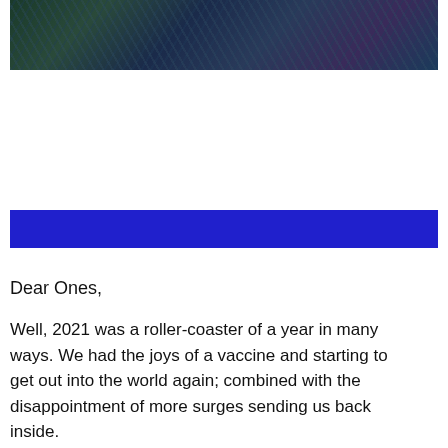[Figure (photo): Partial photo showing a person wearing dark sequined or metallic clothing, cropped at the top of the page]
Dear Ones,
Well, 2021 was a roller-coaster of a year in many ways. We had the joys of a vaccine and starting to get out into the world again; combined with the disappointment of more surges sending us back inside.